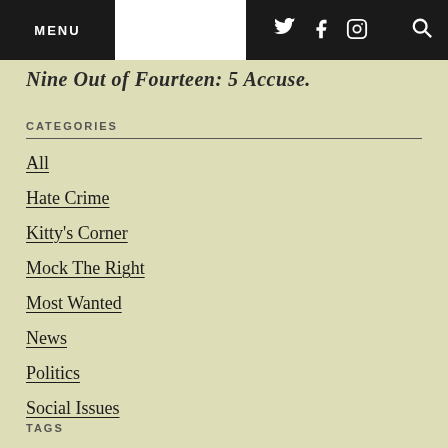MENU | [twitter] [facebook] [instagram] [search]
Nine Out of Fourteen: 5 Accuse.
CATEGORIES
All
Hate Crime
Kitty's Corner
Mock The Right
Most Wanted
News
Politics
Social Issues
TAGS